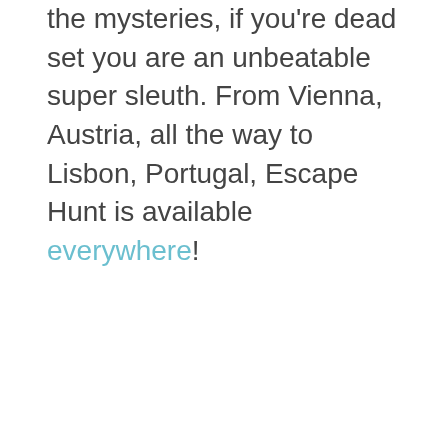the mysteries, if you're dead set you are an unbeatable super sleuth. From Vienna, Austria, all the way to Lisbon, Portugal, Escape Hunt is available everywhere!